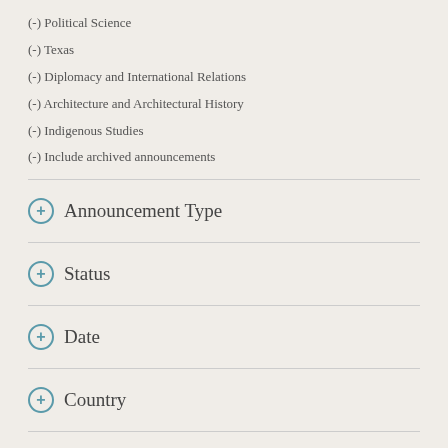(-) Political Science
(-) Texas
(-) Diplomacy and International Relations
(-) Architecture and Architectural History
(-) Indigenous Studies
(-) Include archived announcements
Announcement Type
Status
Date
Country
State